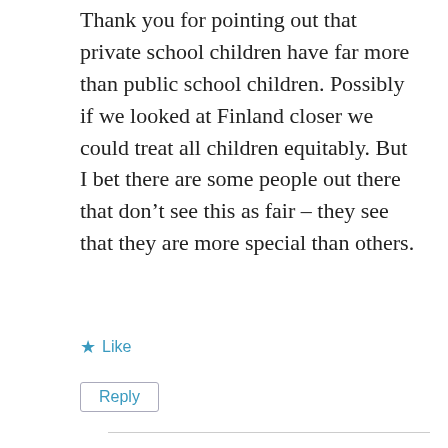Thank you for pointing out that private school children have far more than public school children. Possibly if we looked at Finland closer we could treat all children equitably. But I bet there are some people out there that don't see this as fair – they see that they are more special than others.
Like
Reply
Bee
September 4, 2015 at 9:45 pm